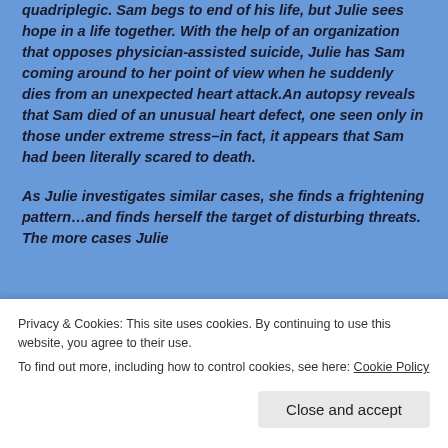quadriplegic. Sam begs to end of his life, but Julie sees hope in a life together. With the help of an organization that opposes physician-assisted suicide, Julie has Sam coming around to her point of view when he suddenly dies from an unexpected heart attack.An autopsy reveals that Sam died of an unusual heart defect, one seen only in those under extreme stress–in fact, it appears that Sam had been literally scared to death.
As Julie investigates similar cases, she finds a frightening pattern…and finds herself the target of disturbing threats. The more cases Julie
Privacy & Cookies: This site uses cookies. By continuing to use this website, you agree to their use.
To find out more, including how to control cookies, see here: Cookie Policy
Close and accept